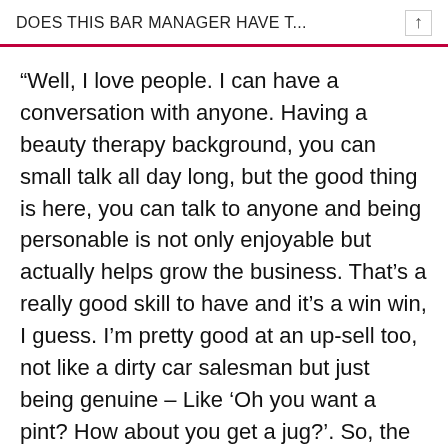DOES THIS BAR MANAGER HAVE T...
“Well, I love people. I can have a conversation with anyone. Having a beauty therapy background, you can small talk all day long, but the good thing is here, you can talk to anyone and being personable is not only enjoyable but actually helps grow the business. That’s a really good skill to have and it’s a win win, I guess. I’m pretty good at an up-sell too, not like a dirty car salesman but just being genuine – Like ‘Oh you want a pint? How about you get a jug?’. So, the talking part is probably my highest skill, even if it is a bit of rubbish sometimes.”